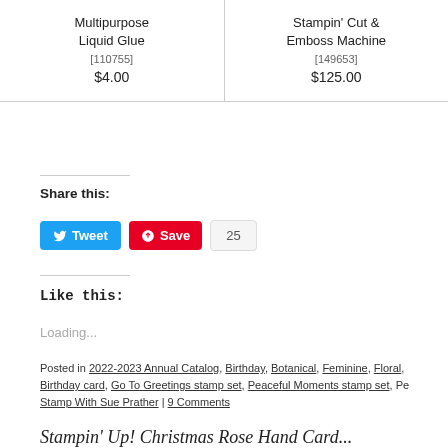| Multipurpose Liquid Glue
[110755]
$4.00 | Stampin' Cut & Emboss Machine
[149653]
$125.00 |
Share this:
[Figure (screenshot): Tweet button (blue), Save button (red with Pinterest icon) and count badge showing 25]
Like this:
Loading...
Posted in 2022-2023 Annual Catalog, Birthday, Botanical, Feminine, Floral, Birthday card, Go To Greetings stamp set, Peaceful Moments stamp set, Pe… Stamp With Sue Prather | 9 Comments
Stampin' Up! Christmas Rose Hand Card...